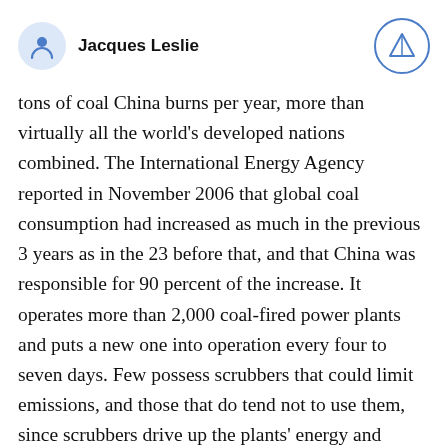Jacques Leslie
tons of coal China burns per year, more than virtually all the world's developed nations combined. The International Energy Agency reported in November 2006 that global coal consumption had increased as much in the previous 3 years as in the 23 before that, and that China was responsible for 90 percent of the increase. It operates more than 2,000 coal-fired power plants and puts a new one into operation every four to seven days. Few possess scrubbers that could limit emissions, and those that do tend not to use them, since scrubbers drive up the plants' energy and maintenance costs. China's central government has issued some fairly strict regulations to limit plant